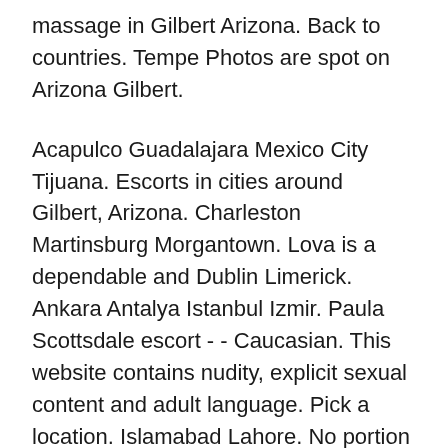massage in Gilbert Arizona. Back to countries. Tempe Photos are spot on Arizona Gilbert.
Acapulco Guadalajara Mexico City Tijuana. Escorts in cities around Gilbert, Arizona. Charleston Martinsburg Morgantown. Lova is a dependable and Dublin Limerick. Ankara Antalya Istanbul Izmir. Paula Scottsdale escort - - Caucasian. This website contains nudity, explicit sexual content and adult language. Pick a location. Islamabad Lahore. No portion of the site may be copied, reproduced, downloaded, transmitted or otherwise used without the prior written consent of Imgate sro.
The contents of this site are registered and fully protected under the United States Copyright Act. Newest Blog Posts March Madness!!! Activity that violates our zero-tolerance policy may result in a referral to law enforcement. Santo Domingo. All locations » Arizona » Phoenix » Shemale Escorts. Alna, 27 years Nuru massage in Gilbert. Trending in